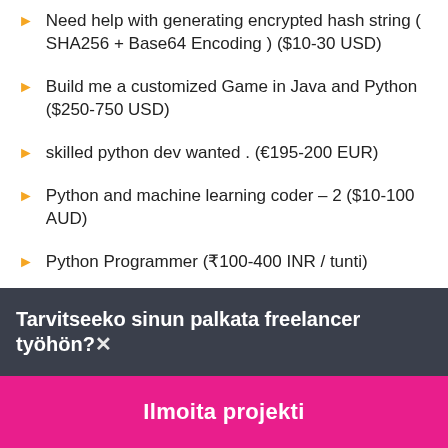Need help with generating encrypted hash string ( SHA256 + Base64 Encoding ) ($10-30 USD)
Build me a customized Game in Java and Python ($250-750 USD)
skilled python dev wanted . (€195-200 EUR)
Python and machine learning coder – 2 ($10-100 AUD)
Python Programmer (₹100-400 INR / tunti)
Stefanie Crispin (£750-1500 GBP)
Python / Laravel Developer ($30-250 USD)
Questions about Hybrid encryption algorithm / coder ($10…
Tarvitseeko sinun palkata freelancer työhön?
Ilmoita projekti